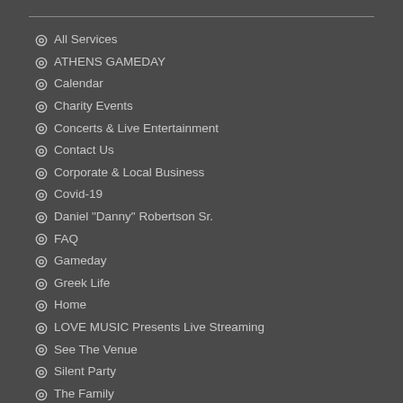All Services
ATHENS GAMEDAY
Calendar
Charity Events
Concerts & Live Entertainment
Contact Us
Corporate & Local Business
Covid-19
Daniel "Danny" Robertson Sr.
FAQ
Gameday
Greek Life
Home
LOVE MUSIC Presents Live Streaming
See The Venue
Silent Party
The Family
Virtual Tour
Weddings
Your Wedding To Go